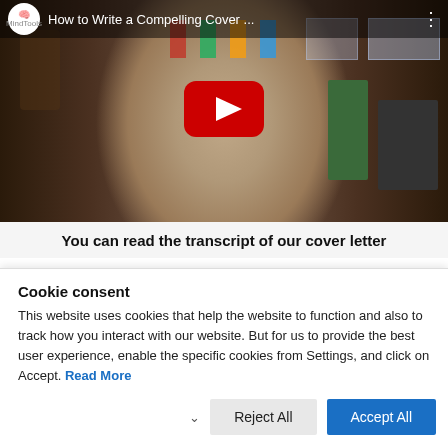[Figure (screenshot): YouTube video thumbnail showing a man in a striped shirt in an office setting, with MindTools logo and title 'How to Write a Compelling Cover ...' and a red YouTube play button overlay]
You can read the transcript of our cover letter
Cookie consent
This website uses cookies that help the website to function and also to track how you interact with our website. But for us to provide the best user experience, enable the specific cookies from Settings, and click on Accept. Read More